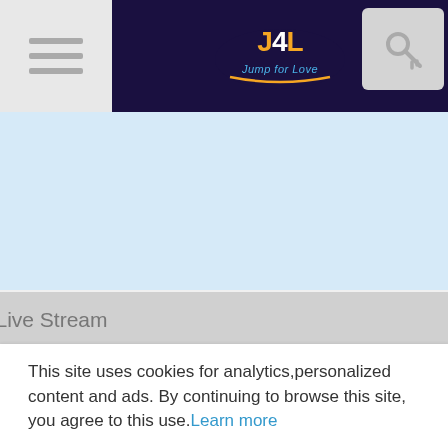[Figure (screenshot): Navigation header bar with hamburger menu on left, Jump4Love logo in center (j4l.com), and key/login icon on right. Dark navy background.]
[Figure (screenshot): Live stream video placeholder area with light blue background and HD Live Stream play button bar below it.]
Yuliya, 24
[Figure (screenshot): Profile card for Yuliya, 24 with green camera icon, star icon, and light blue content area.]
This site uses cookies for analytics,personalized content and ads. By continuing to browse this site, you agree to this use. Learn more